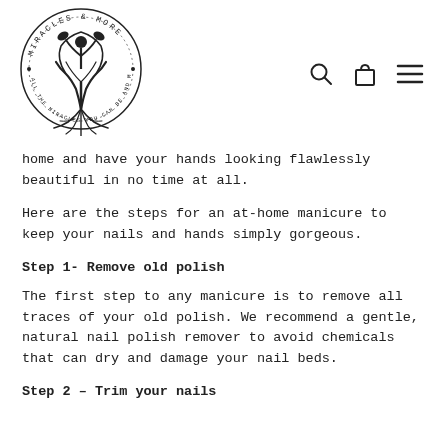[Figure (logo): Miracles & More circular logo with a person/tree figure in the center, text reading 'MIRACLES & MORE' around the top arc and 'ALL THE MIRACLES YOU CAN BE AND MORE' around the bottom arc]
home and have your hands looking flawlessly beautiful in no time at all.
Here are the steps for an at-home manicure to keep your nails and hands simply gorgeous.
Step 1- Remove old polish
The first step to any manicure is to remove all traces of your old polish. We recommend a gentle, natural nail polish remover to avoid chemicals that can dry and damage your nail beds.
Step 2 – Trim your nails